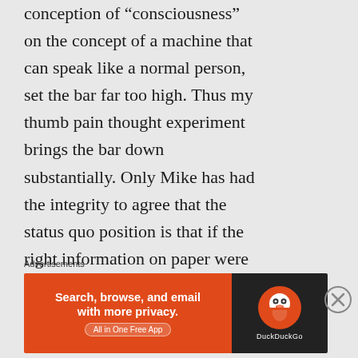conception of “consciousness” on the concept of a machine that can speak like a normal person, set the bar far too high. Thus my thumb pain thought experiment brings the bar down substantially. Only Mike has had the integrity to agree that the status quo position is that if the right information on paper were converted into a
Advertisements
[Figure (infographic): DuckDuckGo advertisement banner: orange left panel with text 'Search, browse, and email with more privacy. All in One Free App', dark right panel with DuckDuckGo duck logo and brand name.]